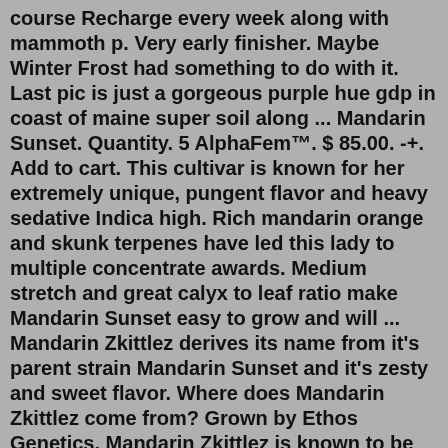course Recharge every week along with mammoth p. Very early finisher. Maybe Winter Frost had something to do with it. Last pic is just a gorgeous purple hue gdp in coast of maine super soil along ... Mandarin Sunset. Quantity. 5 AlphaFem™. $ 85.00. -+. Add to cart. This cultivar is known for her extremely unique, pungent flavor and heavy sedative Indica high. Rich mandarin orange and skunk terpenes have led this lady to multiple concentrate awards. Medium stretch and great calyx to leaf ratio make Mandarin Sunset easy to grow and will ... Mandarin Zkittlez derives its name from it's parent strain Mandarin Sunset and it's zesty and sweet flavor. Where does Mandarin Zkittlez come from? Grown by Ethos Genetics, Mandarin Zkittlez is known to be found in Southern Nevada. What does Mandarin Zkittlez smell like? Mandarin Zkittlez aroma is piney, spicy, citrusy, and slightly sweet. Rich mandarin orange and skunk terpenes have led this lady to multiple concentrate awards. Medium stretch and great calyx to leaf ratio make Mandarin Sunset